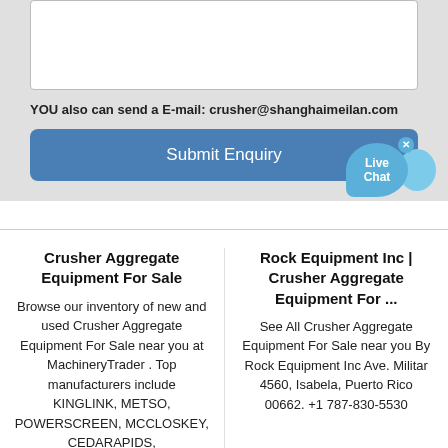YOU also can send a E-mail: crusher@shanghaimeilan.com
Submit Enquiry
[Figure (illustration): Live Chat bubble icon with close button]
Crusher Aggregate Equipment For Sale
Browse our inventory of new and used Crusher Aggregate Equipment For Sale near you at MachineryTrader . Top manufacturers include KINGLINK, METSO, POWERSCREEN, MCCLOSKEY, CEDARAPIDS,
Rock Equipment Inc | Crusher Aggregate Equipment For ...
See All Crusher Aggregate Equipment For Sale near you By Rock Equipment Inc Ave. Militar 4560, Isabela, Puerto Rico 00662. +1 787-830-5530